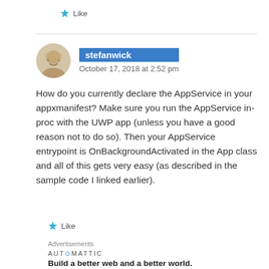Like
stefanwick
October 17, 2018 at 2:52 pm
How do you currently declare the AppService in your appxmanifest? Make sure you run the AppService in-proc with the UWP app (unless you have a good reason not to do so). Then your AppService entrypoint is OnBackgroundActivated in the App class and all of this gets very easy (as described in the sample code I linked earlier).
Like
Advertisements
AUTOMATTIC
Build a better web and a better world.